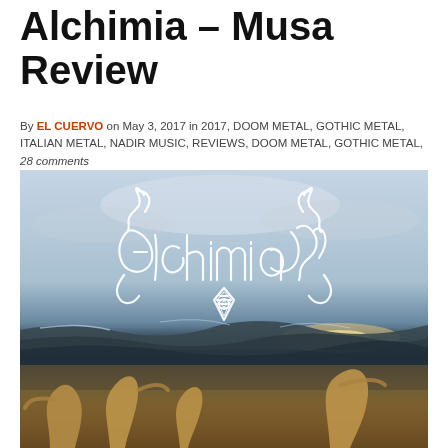Alchimia – Musa Review
By EL CUERVO on May 3, 2017 in 2017, DOOM METAL, GOTHIC METAL, ITALIAN METAL, NADIR MUSIC, REVIEWS, DOOM METAL, GOTHIC METAL, 28 comments
[Figure (photo): Album review image showing the Alchimia band logo (ornate white script lettering with a diamond emblem) overlaid on a painting of figures by a dark ocean with cloudy sky]